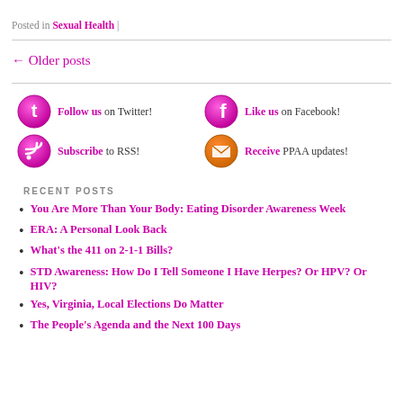Posted in Sexual Health |
← Older posts
[Figure (infographic): Social media icons and links: Twitter follow button, Facebook like button, RSS subscribe button, Email PPAA updates button]
RECENT POSTS
You Are More Than Your Body: Eating Disorder Awareness Week
ERA: A Personal Look Back
What's the 411 on 2-1-1 Bills?
STD Awareness: How Do I Tell Someone I Have Herpes? Or HPV? Or HIV?
Yes, Virginia, Local Elections Do Matter
The People's Agenda and the Next 100 Days